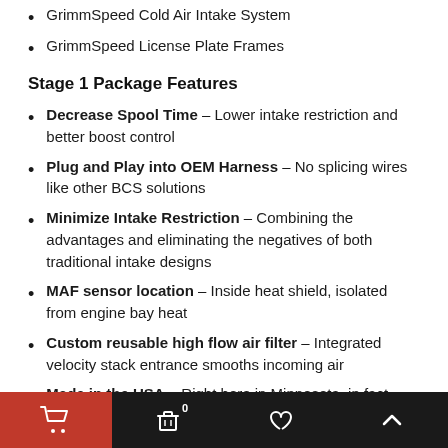GrimmSpeed Cold Air Intake System
GrimmSpeed License Plate Frames
Stage 1 Package Features
Decrease Spool Time – Lower intake restriction and better boost control
Plug and Play into OEM Harness – No splicing wires like other BCS solutions
Minimize Intake Restriction – Combining the advantages and eliminating the negatives of both traditional intake designs
MAF sensor location – Inside heat shield, isolated from engine bay heat
Custom reusable high flow air filter – Integrated velocity stack entrance smooths incoming air
Made in the USA – Right here in Minnesota, in fact
60min Installation – Extremely simple with our written and video guides